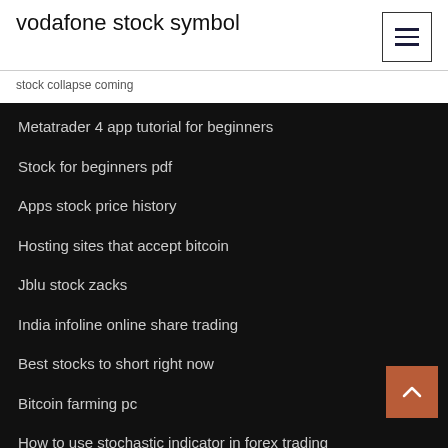vodafone stock symbol
stock collapse coming
Metatrader 4 app tutorial for beginners
Stock for beginners pdf
Apps stock price history
Hosting sites that accept bitcoin
Jblu stock zacks
India infoline online share trading
Best stocks to short right now
Bitcoin farming pc
How to use stochastic indicator in forex trading
Forex pips striker